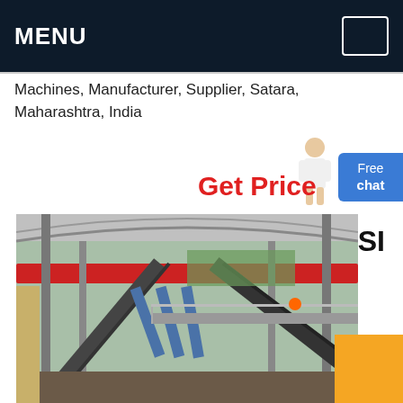MENU
Machines, Manufacturer, Supplier, Satara, Maharashtra, India
Get Price
[Figure (photo): Industrial steel structure facility with overhead red bridge crane, conveyor belts, and blue structural supports, photographed from an elevated interior vantage point]
VSI